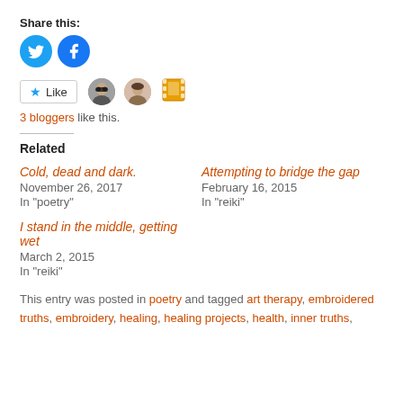Share this:
[Figure (other): Twitter and Facebook share icon circles (blue)]
[Figure (other): Like button with star icon and 3 blogger avatars]
3 bloggers like this.
Related
Cold, dead and dark.
November 26, 2017
In "poetry"
Attempting to bridge the gap
February 16, 2015
In "reiki"
I stand in the middle, getting wet
March 2, 2015
In "reiki"
This entry was posted in poetry and tagged art therapy, embroidered truths, embroidery, healing, healing projects, health, inner truths,